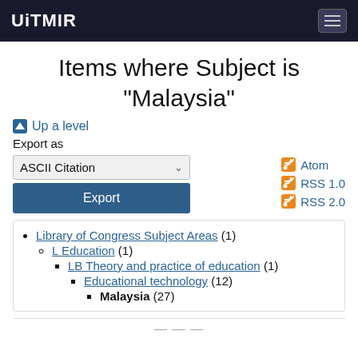UiTMIR
Items where Subject is "Malaysia"
Up a level
Export as
ASCII Citation
Export
Atom
RSS 1.0
RSS 2.0
Library of Congress Subject Areas (1)
L Education (1)
LB Theory and practice of education (1)
Educational technology (12)
Malaysia (27)